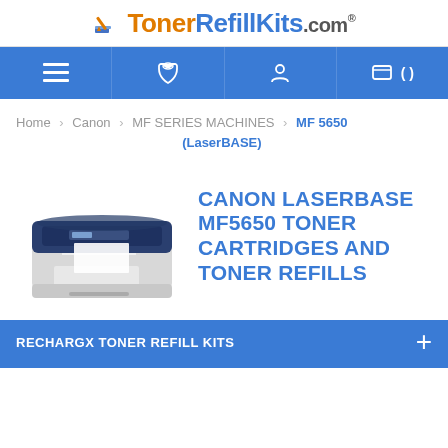TonerRefillKits.com®
[Figure (screenshot): Navigation bar with menu (hamburger), phone, user account, and cart icons on a blue background]
Home > Canon > MF SERIES MACHINES > MF 5650 (LaserBASE)
[Figure (photo): Canon LaserBASE MF5650 multifunction printer/scanner in grey and dark blue]
CANON LASERBASE MF5650 TONER CARTRIDGES AND TONER REFILLS
RECHARGX TONER REFILL KITS